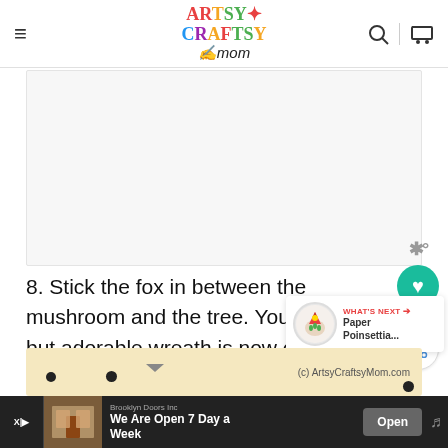Artsy Craftsy Mom
[Figure (other): White/light gray advertisement or image placeholder area]
8. Stick the fox in between the mushroom and the tree. Your simple but adorable wreath is now complete!
[Figure (other): What's Next widget showing Paper Poinsettia thumbnail with circular image]
[Figure (other): Bottom strip showing craft image with (c) ArtsyCraftsyMom.com watermark]
[Figure (other): Bottom advertisement bar: Brooklyn Doors Inc - We Are Open 7 Day a Week - Open button]